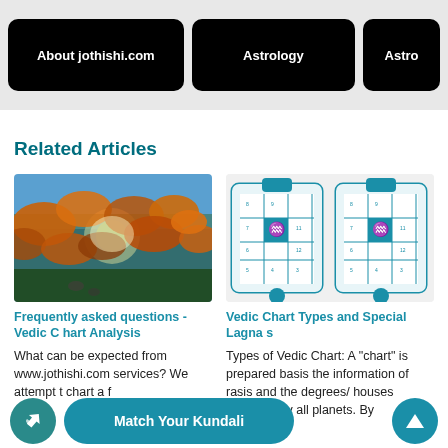About jothishi.com | Astrology | Astro
Related Articles
[Figure (photo): Nature photo showing golden-orange leaves lit by sunlight against a blue sky]
Frequently asked questions - Vedic Chart Analysis
What can be expected from www.jothishi.com services? We attempt t... chart a... f...
[Figure (illustration): Two blue Vedic astrology chart grids side by side with a figure/symbol in the center square of each]
Vedic Chart Types and Special Lagnas
Types of Vedic Chart: A "chart" is prepared basis the information of rasis and the degrees/ houses occupied by all planets. By
Match Your Kundali